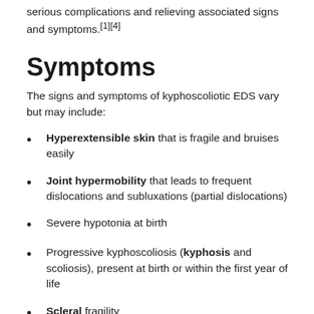serious complications and relieving associated signs and symptoms.[1][4]
Symptoms
The signs and symptoms of kyphoscoliotic EDS vary but may include:
Hyperextensible skin that is fragile and bruises easily
Joint hypermobility that leads to frequent dislocations and subluxations (partial dislocations)
Severe hypotonia at birth
Progressive kyphoscoliosis (kyphosis and scoliosis), present at birth or within the first year of life
Scleral fragility